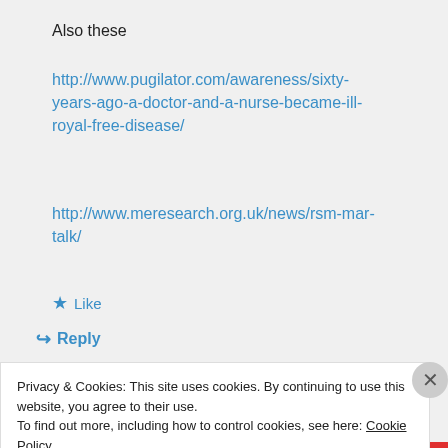Also these
http://www.pugilator.com/awareness/sixty-years-ago-a-doctor-and-a-nurse-became-ill-royal-free-disease/
http://www.meresearch.org.uk/news/rsm-mar-talk/
★ Like
↪ Reply
Privacy & Cookies: This site uses cookies. By continuing to use this website, you agree to their use.
To find out more, including how to control cookies, see here: Cookie Policy
Close and accept